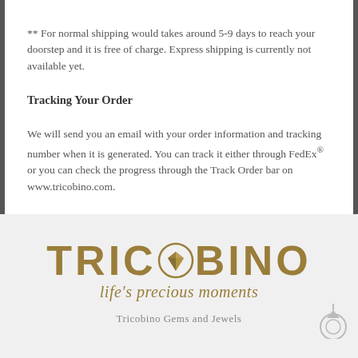** For normal shipping would takes around 5-9 days to reach your doorstep and it is free of charge. Express shipping is currently not available yet.
Tracking Your Order
We will send you an email with your order information and tracking number when it is generated. You can track it either through FedEx® or you can check the progress through the Track Order bar on www.tricobino.com.
[Figure (logo): Tricobino logo with gem icon replacing the letter O, tagline 'life's precious moments', and company name 'Tricobino Gems and Jewels']